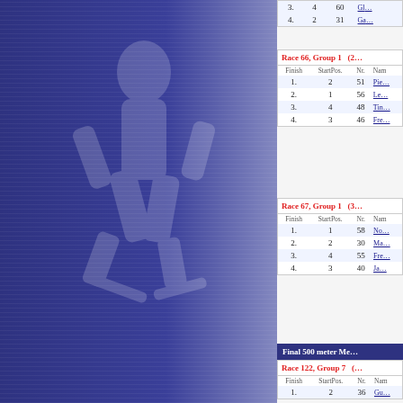[Figure (illustration): Dark navy blue left panel with horizontal stripes and faded watermark figure of a speed skater]
| Finish | StartPos. | Nr. | Name |
| --- | --- | --- | --- |
| 3. | 4 | 60 | Gl... |
| 4. | 2 | 31 | Ga... |
Race 66, Group 1   (2...
| Finish | StartPos. | Nr. | Name |
| --- | --- | --- | --- |
| 1. | 2 | 51 | Pie... |
| 2. | 1 | 56 | Le... |
| 3. | 4 | 48 | Tin... |
| 4. | 3 | 46 | Fre... |
Race 67, Group 1   (3...
| Finish | StartPos. | Nr. | Name |
| --- | --- | --- | --- |
| 1. | 1 | 58 | No... |
| 2. | 2 | 30 | Ma... |
| 3. | 4 | 55 | Fre... |
| 4. | 3 | 40 | Ja... |
Final 500 meter Men
Race 122, Group 7   (...
| Finish | StartPos. | Nr. | Name |
| --- | --- | --- | --- |
| 1. | 2 | 36 | Gu... |
| 2. | 1 | 32 | Da... |
| 3. | 3 | 39 | Be... |
| 4. | 4 | 49 | Ni... |
Race 123, Group 6   (...